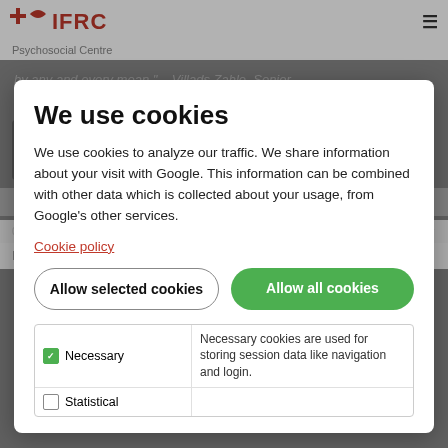IFRC — Psychosocial Centre
by any and every mean." – Villads Zahle, Senior
the European Council on Refugees and Exiles
We use cookies
We use cookies to analyze our traffic. We share information about your visit with Google. This information can be combined with other data which is collected about your usage, from Google's other services.
Cookie policy
Allow selected cookies
Allow all cookies
Mental Health in an U
| Cookie type | Description |
| --- | --- |
| Necessary | Necessary cookies are used for storing session data like navigation and login. |
| Statistical |  |